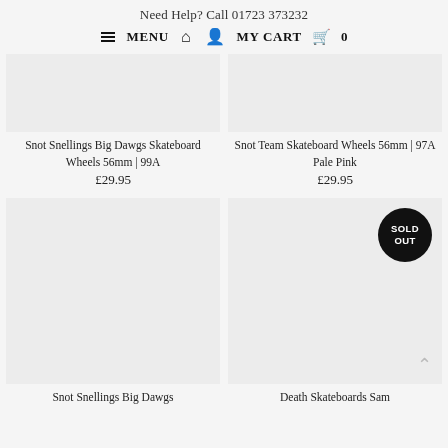Need Help? Call 01723 373232
≡ MENU  🏠  👤  MY CART 🛒 0
[Figure (photo): Product image placeholder for Snot Snellings Big Dawgs Skateboard Wheels 56mm | 99A]
Snot Snellings Big Dawgs Skateboard Wheels 56mm | 99A
£29.95
[Figure (photo): Product image placeholder for Snot Team Skateboard Wheels 56mm | 97A Pale Pink]
Snot Team Skateboard Wheels 56mm | 97A Pale Pink
£29.95
[Figure (photo): Product image placeholder for Snot Snellings Big Dawgs (bottom row left)]
Snot Snellings Big Dawgs
[Figure (photo): Product image placeholder for Death Skateboards Sam — marked SOLD OUT]
Death Skateboards Sam